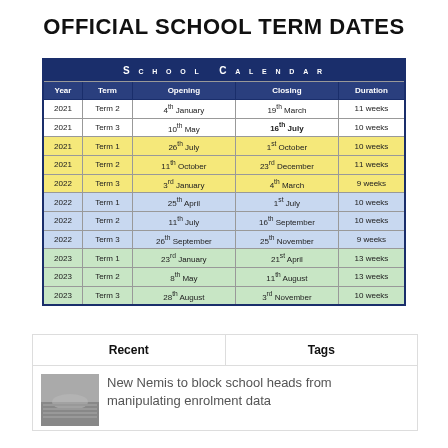OFFICIAL SCHOOL TERM DATES
| Year | Term | Opening | Closing | Duration |
| --- | --- | --- | --- | --- |
| 2021 | Term 2 | 4th January | 19th March | 11 weeks |
| 2021 | Term 3 | 10th May | 16th July | 10 weeks |
| 2021 | Term 1 | 26th July | 1st October | 10 weeks |
| 2021 | Term 2 | 11th October | 23rd December | 11 weeks |
| 2022 | Term 3 | 3rd January | 4th March | 9 weeks |
| 2022 | Term 1 | 25th April | 1st July | 10 weeks |
| 2022 | Term 2 | 11th July | 16th September | 10 weeks |
| 2022 | Term 3 | 26th September | 25th November | 9 weeks |
| 2023 | Term 1 | 23rd January | 21st April | 13 weeks |
| 2023 | Term 2 | 8th May | 11th August | 13 weeks |
| 2023 | Term 3 | 28th August | 3rd November | 10 weeks |
Recent
Tags
New Nemis to block school heads from manipulating enrolment data